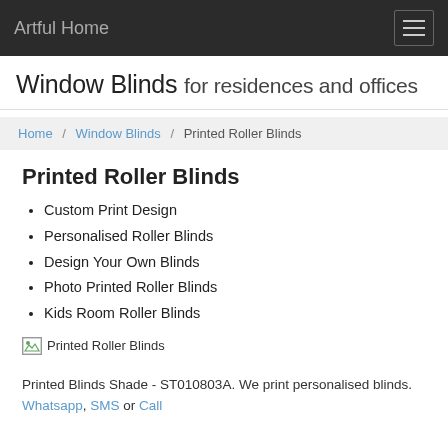Artful Home
Window Blinds for residences and offices
Home / Window Blinds / Printed Roller Blinds
Printed Roller Blinds
Custom Print Design
Personalised Roller Blinds
Design Your Own Blinds
Photo Printed Roller Blinds
Kids Room Roller Blinds
[Figure (photo): Broken image placeholder for Printed Roller Blinds]
Printed Blinds Shade - ST010803A. We print personalised blinds. Whatsapp, SMS or Call